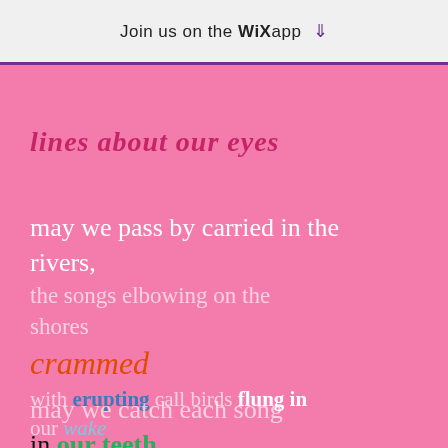Join us on the WiX app ↓
lines about our eyes
may we pass by carried in the rivers,
the songs elbowing on the shores
crammed
with erupting call birds flung in our wake
may we catch each song in our teeth
and let the juice run down our necks
as we pass by